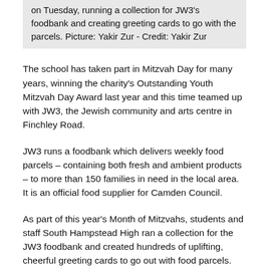on Tuesday, running a collection for JW3's foodbank and creating greeting cards to go with the parcels. Picture: Yakir Zur - Credit: Yakir Zur
The school has taken part in Mitzvah Day for many years, winning the charity's Outstanding Youth Mitzvah Day Award last year and this time teamed up with JW3, the Jewish community and arts centre in Finchley Road.
JW3 runs a foodbank which delivers weekly food parcels – containing both fresh and ambient products – to more than 150 families in need in the local area. It is an official food supplier for Camden Council.
As part of this year's Month of Mitzvahs, students and staff South Hampstead High ran a collection for the JW3 foodbank and created hundreds of uplifting, cheerful greeting cards to go out with food parcels.